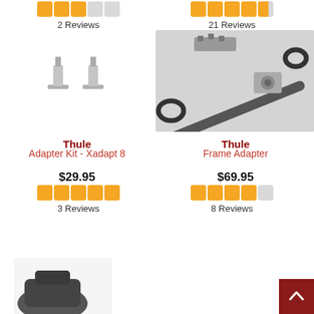[Figure (other): Star rating: 3 out of 5 stars, orange filled squares]
2 Reviews
[Figure (other): Star rating: 4.5 out of 5 stars, orange filled squares]
21 Reviews
[Figure (photo): Two small grey plastic screw/bolt adapters on white background]
[Figure (photo): Thule Frame Adapter shown on bicycle rack, metal rod with loops on grey background]
Thule
Adapter Kit - Xadapt 8
$29.95
[Figure (other): Star rating: 5 out of 5 stars, orange filled squares]
3 Reviews
Thule
Frame Adapter
$69.95
[Figure (other): Star rating: 4 out of 5 stars, orange filled squares]
8 Reviews
[Figure (photo): Bottom of page: partial view of a dark grey product]
[Figure (other): Back to top button, dark red square with white upward chevron arrow]